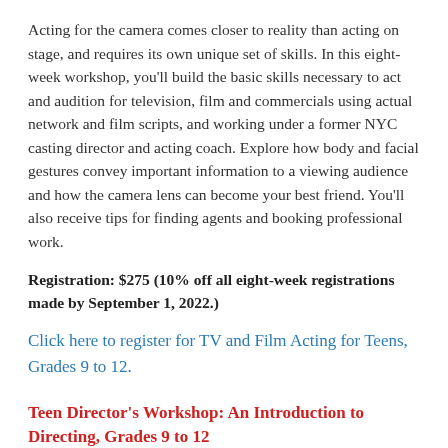Acting for the camera comes closer to reality than acting on stage, and requires its own unique set of skills. In this eight-week workshop, you'll build the basic skills necessary to act and audition for television, film and commercials using actual network and film scripts, and working under a former NYC casting director and acting coach. Explore how body and facial gestures convey important information to a viewing audience and how the camera lens can become your best friend. You'll also receive tips for finding agents and booking professional work.
Registration: $275 (10% off all eight-week registrations made by September 1, 2022.)
Click here to register for TV and Film Acting for Teens, Grades 9 to 12.
Teen Director's Workshop: An Introduction to Directing, Grades 9 to 12